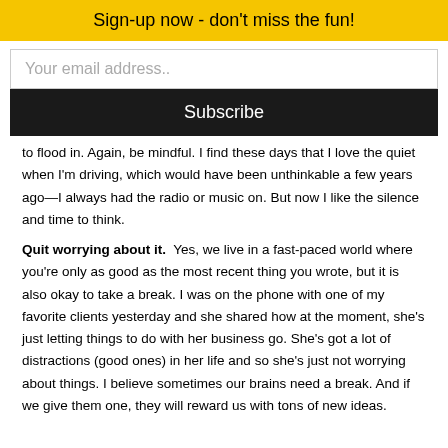Sign-up now - don't miss the fun!
Your email address..
Subscribe
to flood in. Again, be mindful. I find these days that I love the quiet when I'm driving, which would have been unthinkable a few years ago—I always had the radio or music on. But now I like the silence and time to think.
Quit worrying about it.  Yes, we live in a fast-paced world where you're only as good as the most recent thing you wrote, but it is also okay to take a break. I was on the phone with one of my favorite clients yesterday and she shared how at the moment, she's just letting things to do with her business go. She's got a lot of distractions (good ones) in her life and so she's just not worrying about things. I believe sometimes our brains need a break. And if we give them one, they will reward us with tons of new ideas.